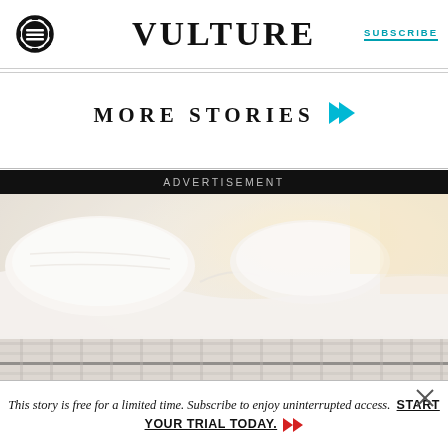VULTURE | SUBSCRIBE
MORE STORIES
ADVERTISEMENT
[Figure (photo): Advertisement image showing a mattress with white bedding and pillows, softly lit bedroom scene]
This story is free for a limited time. Subscribe to enjoy uninterrupted access. START YOUR TRIAL TODAY.